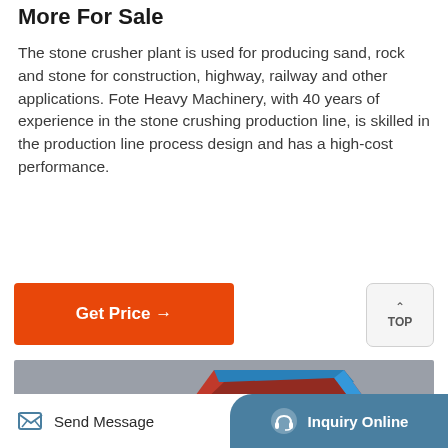More For Sale
The stone crusher plant is used for producing sand, rock and stone for construction, highway, railway and other applications. Fote Heavy Machinery, with 40 years of experience in the stone crushing production line, is skilled in the production line process design and has a high-cost performance.
[Figure (other): Orange 'Get Price →' button and a 'TOP' navigation button with upward arrow]
[Figure (photo): Close-up photograph of a red stone crusher machine with a hopper, springs, and belt pulley on a concrete surface]
Send Message   Inquiry Online